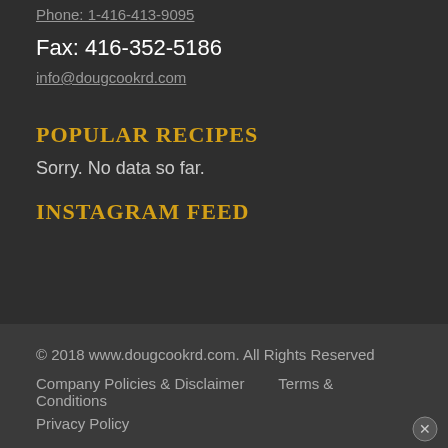Phone: 1-416-413-9095
Fax: 416-352-5186
info@dougcookrd.com
POPULAR RECIPES
Sorry. No data so far.
INSTAGRAM FEED
© 2018 www.dougcookrd.com. All Rights Reserved
Company Policies & Disclaimer  Terms & Conditions
Privacy Policy